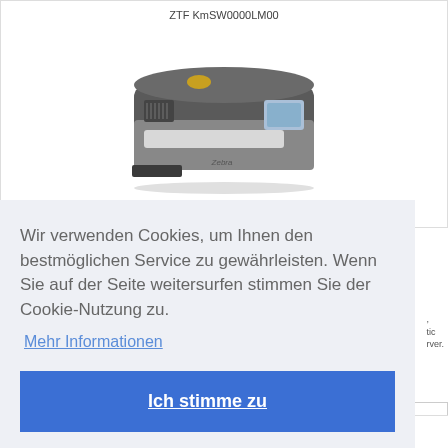ZTF KmSW0000LM00
[Figure (photo): Zebra card printer / ID card printer, grey and black color, shown in 3/4 perspective view]
Wir verwenden Cookies, um Ihnen den bestmöglichen Service zu gewährleisten. Wenn Sie auf der Seite weitersurfen stimmen Sie der Cookie-Nutzung zu.
Mehr Informationen
Ich stimme zu
Details